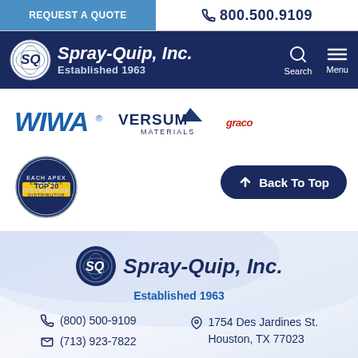REQUEST A QUOTE | 800.500.9109
Spray-Quip, Inc. Established 1963
[Figure (logo): WIWA logo (blue italic letters), Versum Materials logo (with teal checkmark), and a third brand logo]
[Figure (logo): Top 20 Distributor badge (circular gold and blue seal)]
Back To Top
[Figure (logo): Spray-Quip, Inc. footer logo with circular SQ emblem, company name and Established 1963]
(800) 500-9109
(713) 923-7822
1754 Des Jardines St. Houston, TX 77023